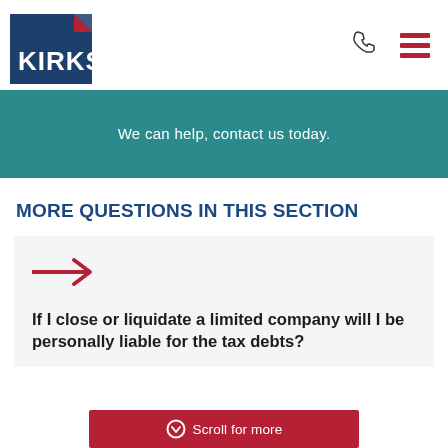KIRKS
We can help, contact us today.
MORE QUESTIONS IN THIS SECTION
[Figure (illustration): Red arrow pointing right]
If I close or liquidate a limited company will I be personally liable for the tax debts?